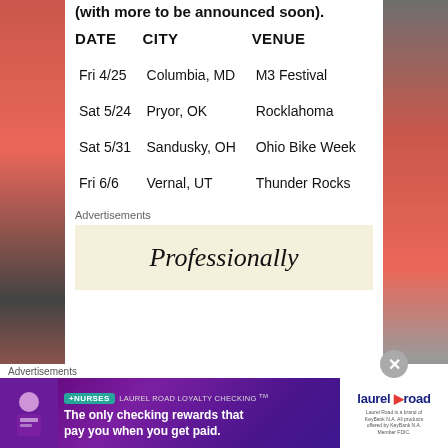(with more to be announced soon).
| DATE | CITY | VENUE |
| --- | --- | --- |
| Fri 4/25 | Columbia, MD | M3 Festival |
| Sat 5/24 | Pryor, OK | Rocklahoma |
| Sat 5/31 | Sandusky, OH | Ohio Bike Week |
| Fri 6/6 | Vernal, UT | Thunder Rocks |
Advertisements
[Figure (other): Advertisement banner with text 'Professionally']
Advertisements
[Figure (other): Laurel Road Loyalty Checking advertisement banner - +NURSES LAUREL ROAD LOYALTY CHECKING TM - The only checking rewards that pay you when you get paid.]